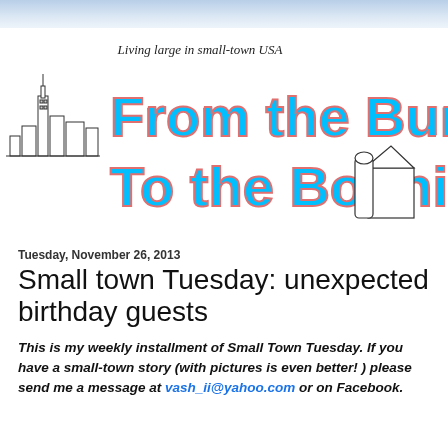[Figure (logo): Blog logo: 'From the Burbs To the Boonies' with city skyline on left, barn/silo on right, tagline 'Living large in small-town USA' above title text in large cyan funky font with pink outline.]
Tuesday, November 26, 2013
Small town Tuesday: unexpected birthday guests
This is my weekly installment of Small Town Tuesday. If you have a small-town story (with pictures is even better! ) please send me a message at vash_ii@yahoo.com or on Facebook.